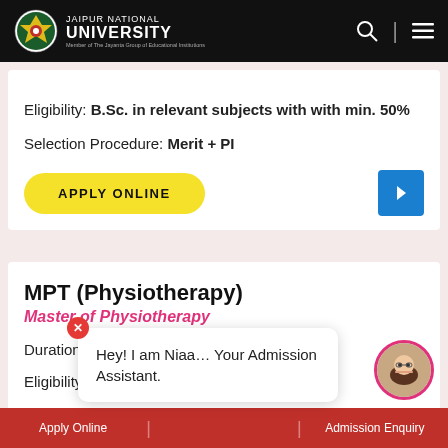Jaipur National University
Eligibility: B.Sc. in relevant subjects with with min. 50%
Selection Procedure: Merit + PI
APPLY ONLINE
MPT (Physiotherapy)
Master of Physiotherapy
Duration: 2 Yea…
Eligibility: BPT w…
Hey! I am Niaa… Your Admission Assistant.
Apply Online | Admission Enquiry